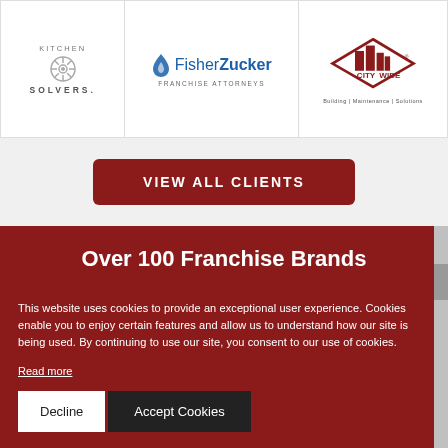[Figure (logo): Kitchen Solvers logo with circular gear-like emblem and text]
[Figure (logo): Fisher Zucker Franchise Attorneys logo with blue drop/flame icon]
[Figure (logo): City Wide Building Maintenance Solutions logo with red building skyline]
VIEW ALL CLIENTS
Over 100 Franchise Brands
This website uses cookies to provide an exceptional user experience. Cookies enable you to enjoy certain features and allow us to understand how our site is being used. By continuing to use our site, you consent to our use of cookies.
Read more
Decline
Accept Cookies